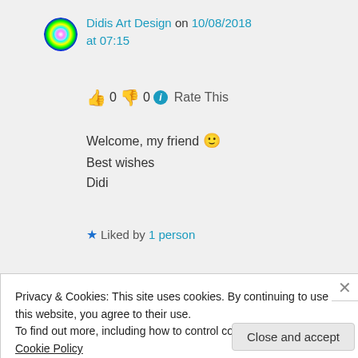Didis Art Design on 10/08/2018 at 07:15
👍 0 👎 0 ℹ Rate This
Welcome, my friend 🙂
Best wishes
Didi
★ Liked by 1 person
Log in to Reply
Privacy & Cookies: This site uses cookies. By continuing to use this website, you agree to their use.
To find out more, including how to control cookies, see here: Cookie Policy
Close and accept